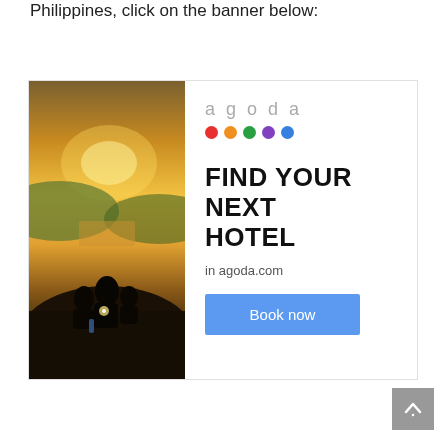Philippines, click on the banner below:
[Figure (illustration): Agoda hotel booking advertisement banner featuring a sunset photo of people sitting on a rock overlooking a scenic view, with the Agoda logo (colored dots), text 'FIND YOUR NEXT HOTEL', 'in agoda.com', and a 'Book now' button.]
[Figure (other): Gray scroll-to-top button with upward arrow icon in bottom right corner.]